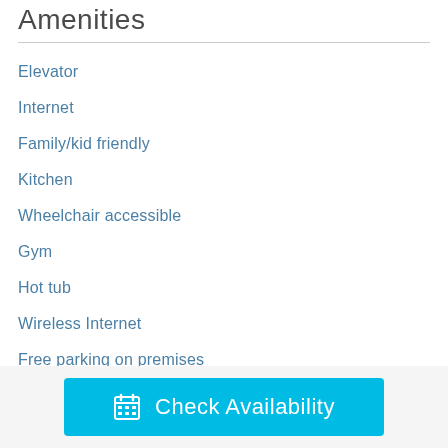Amenities
Elevator
Internet
Family/kid friendly
Kitchen
Wheelchair accessible
Gym
Hot tub
Wireless Internet
Free parking on premises
Pool
Lazy River
Laptop friendly workspace
Check Availability